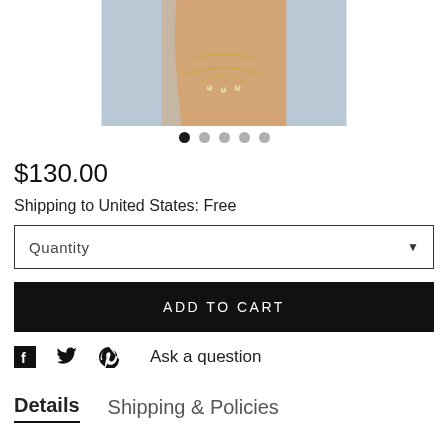[Figure (photo): Hand and wrist wearing a gold chain hand piece jewelry with pearl-like charms, photographed against a light blue-grey background.]
$130.00
Shipping to United States: Free
Quantity
ADD TO CART
Ask a question
Details   Shipping & Policies